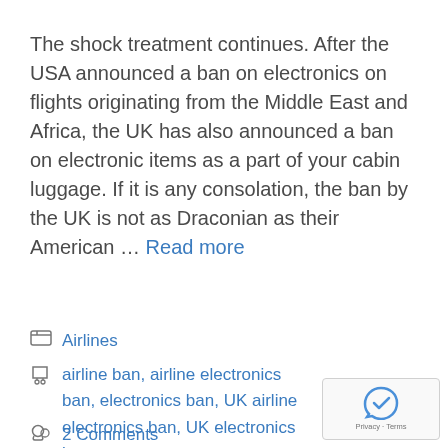The shock treatment continues. After the USA announced a ban on electronics on flights originating from the Middle East and Africa, the UK has also announced a ban on electronic items as a part of your cabin luggage. If it is any consolation, the ban by the UK is not as Draconian as their American … Read more
Airlines
airline ban, airline electronics ban, electronics ban, UK airline electronics ban, UK electronics ban
2 Comments